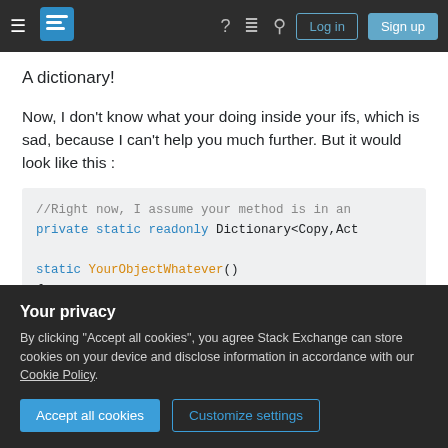Stack Exchange navigation bar with hamburger menu, logo, help, chat, search, Log in and Sign up buttons
A dictionary!
Now, I don't know what your doing inside your ifs, which is sad, because I can't help you much further. But it would look like this :
//Right now, I assume your method is in an
private static readonly Dictionary<Copy,Act

static YourObjectWhatever()
{
Your privacy
By clicking "Accept all cookies", you agree Stack Exchange can store cookies on your device and disclose information in accordance with our Cookie Policy.
[Accept all cookies] [Customize settings]